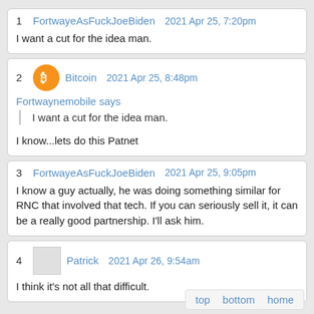1  FortwayeAsFuckJoeBiden  2021 Apr 25, 7:20pm
I want a cut for the idea man.
2  Bitcoin  2021 Apr 25, 8:48pm
Fortwaynemobile says
I want a cut for the idea man.
I know...lets do this Patnet
3  FortwayeAsFuckJoeBiden  2021 Apr 25, 9:05pm
I know a guy actually, he was doing something similar for RNC that involved that tech. If you can seriously sell it, it can be a really good partnership. I'll ask him.
4  Patrick  2021 Apr 26, 9:54am
I think it's not all that difficult.
top   bottom   home